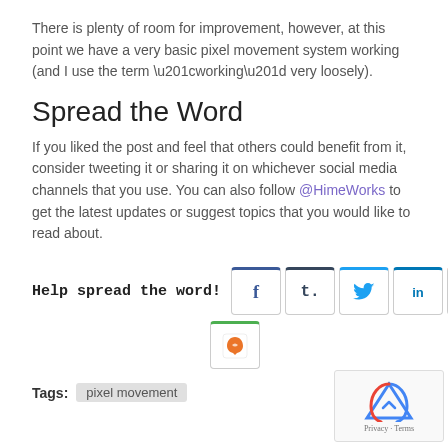There is plenty of room for improvement, however, at this point we have a very basic pixel movement system working (and I use the term “working” very loosely).
Spread the Word
If you liked the post and feel that others could benefit from it, consider tweeting it or sharing it on whichever social media channels that you use. You can also follow @HimeWorks to get the latest updates or suggest topics that you would like to read about.
Help spread the word!
[Figure (other): Social media share buttons: Facebook (f), Tumblr (t), Twitter bird icon, LinkedIn (in), Reddit alien icon, and Niuzao/other green icon]
Tags: pixel movement
[Figure (other): Google reCAPTCHA widget with Privacy and Terms links]